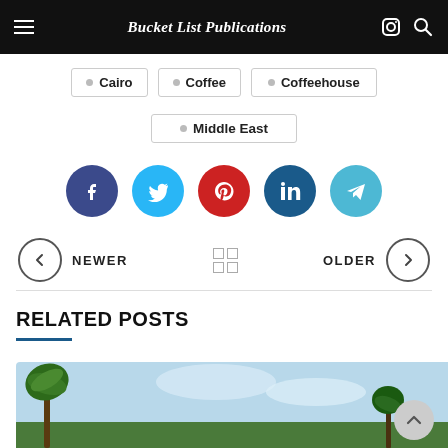Bucket List Publications
Cairo
Coffee
Coffeehouse
Middle East
[Figure (infographic): Row of 5 social media share buttons: Facebook (dark blue), Twitter (light blue), Pinterest (red), LinkedIn (dark blue), Telegram (cyan)]
[Figure (infographic): Post navigation bar with NEWER (left arrow) and OLDER (right arrow) and grid icon in center]
RELATED POSTS
[Figure (photo): Outdoor photo showing palm trees against a blue sky with some green foliage]